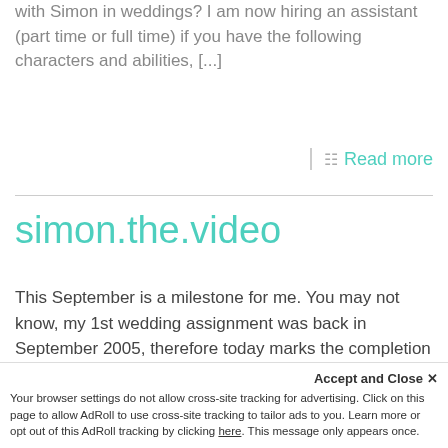with Simon in weddings? I am now hiring an assistant (part time or full time) if you have the following characters and abilities, [...]
Read more
simon.the.video
This September is a milestone for me. You may not know, my 1st wedding assignment was back in September 2005, therefore today marks the completion of my 10 years full time wedding
Accept and Close ✕ Your browser settings do not allow cross-site tracking for advertising. Click on this page to allow AdRoll to use cross-site tracking to tailor ads to you. Learn more or opt out of this AdRoll tracking by clicking here. This message only appears once.